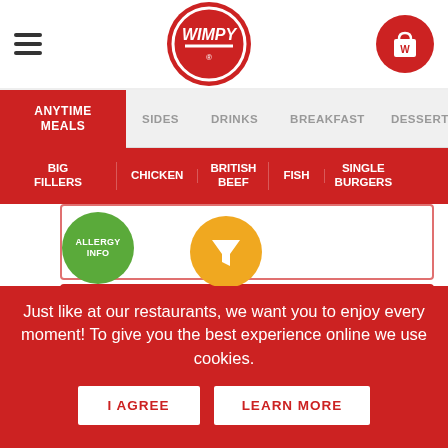[Figure (logo): Wimpy restaurant website header with hamburger menu, Wimpy circular red logo, and shopping bag icon]
ANYTIME MEALS
SIDES
DRINKS
BREAKFAST
DESSERTS
BIG FILLERS
CHICKEN
BRITISH BEEF
FISH
SINGLE BURGERS
[Figure (infographic): Allergy info green circle button and orange filter funnel icon]
Just like at our restaurants, we want you to enjoy every moment! To give you the best experience online we use cookies.
I AGREE
LEARN MORE